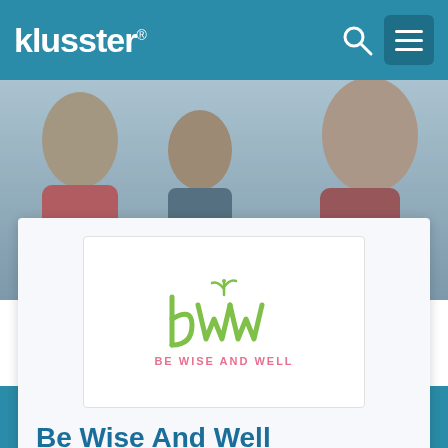klusster®
[Figure (logo): BWW - Be Wise And Well logo: stylized green BWW letters with a small plant/leaf on top, and pink text 'BE WISE AND WELL' below]
Be Wise And Well
Your destination for women's health and wellness information in all stages of life.
3.8 ☆☆☆☆☆☆ [social icons: Facebook, LinkedIn, Twitter, Pinterest, Link, Email]